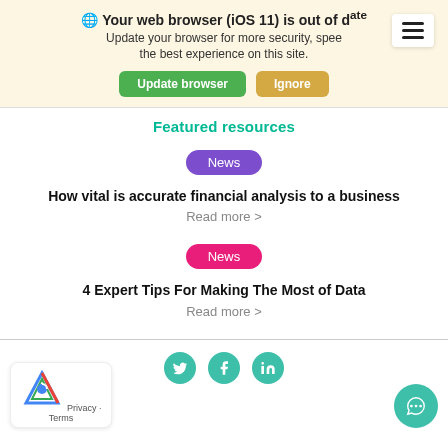🌐 Your web browser (iOS 11) is out of date. Update your browser for more security, speed and the best experience on this site.
Update browser | Ignore
Featured resources
News
How vital is accurate financial analysis to a business
Read more >
News
4 Expert Tips For Making The Most of Data
Read more >
Privacy · Terms  [social icons: Twitter, Facebook, LinkedIn]